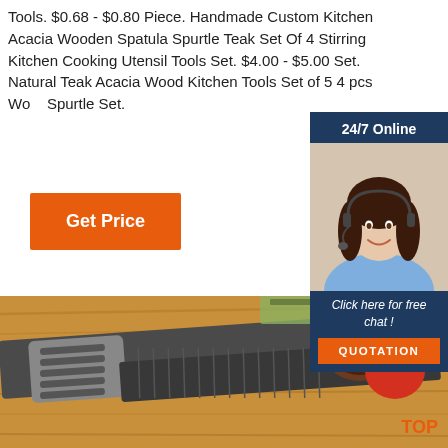Tools. $0.68 - $0.80 Piece. Handmade Custom Kitchen Acacia Wooden Spatula Spurtle Teak Set Of 4 Stirring Kitchen Cooking Utensil Tools Set. $4.00 - $5.00 Set. Natural Teak Acacia Wood Kitchen Tools Set of 5 4 pcs Wo... Spurtle Set.
[Figure (other): Customer service representative with headset, smiling. Overlay widget with '24/7 Online' header, 'Click here for free chat!' text, and orange QUOTATION button.]
Get Price
[Figure (photo): Close-up photo of a stainless steel spatula/kitchen tongs lying on a wooden surface with a tomato and potato in the background.]
TOP